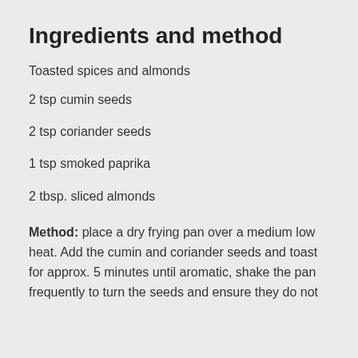Ingredients and method
Toasted spices and almonds
2 tsp cumin seeds
2 tsp coriander seeds
1 tsp smoked paprika
2 tbsp. sliced almonds
Method: place a dry frying pan over a medium low heat. Add the cumin and coriander seeds and toast for approx. 5 minutes until aromatic, shake the pan frequently to turn the seeds and ensure they do not